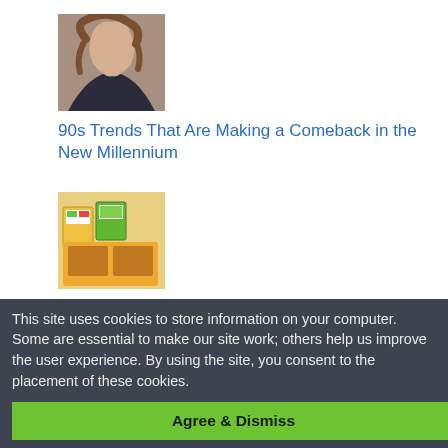[Figure (photo): Thumbnail photo of a young woman with curly hair]
90s Trends That Are Making a Comeback in the New Millennium
[Figure (photo): Thumbnail image of classic 80s toy boxes and sets]
Classic Toys of the 80's
[Figure (photo): Thumbnail image of classic 70s toys including cars and games]
Classic Toys of the 70s
[Figure (photo): Partial thumbnail at bottom]
This site uses cookies to store information on your computer. Some are essential to make our site work; others help us improve the user experience. By using the site, you consent to the placement of these cookies.
Agree & Dismiss